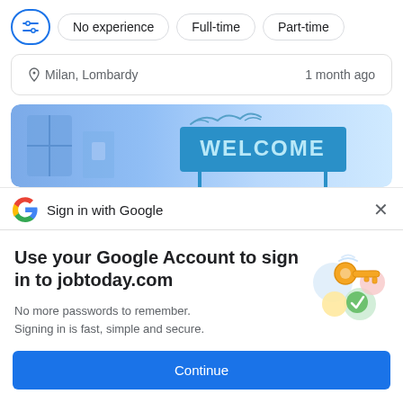[Figure (screenshot): Filter bar with icon button and chips: No experience, Full-time, Part-time]
Milan, Lombardy    1 month ago
[Figure (illustration): Welcome banner with blue background showing 'WELCOME' sign illustration]
Sign in with Google
Use your Google Account to sign in to jobtoday.com
No more passwords to remember. Signing in is fast, simple and secure.
[Figure (illustration): Google sign-in illustration with a golden key and colorful circles]
Continue